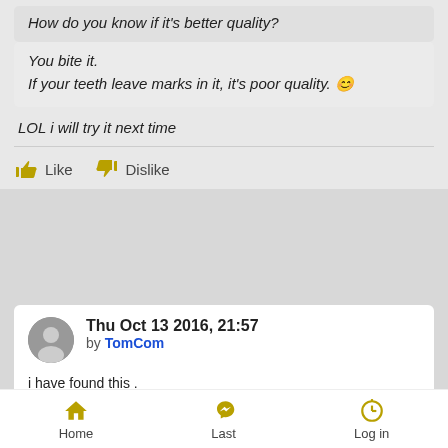How do you know if it's better quality?
You bite it.
If your teeth leave marks in it, it's poor quality. 🙂
LOL i will try it next time
Like   Dislike
Thu Oct 13 2016, 21:57 by TomCom
i have found this .
Xring D.I.D set, Gold Chain and Sprocket , Company : M&P
[You must be [You must be registered and logged in to see this link.] to see this link.]